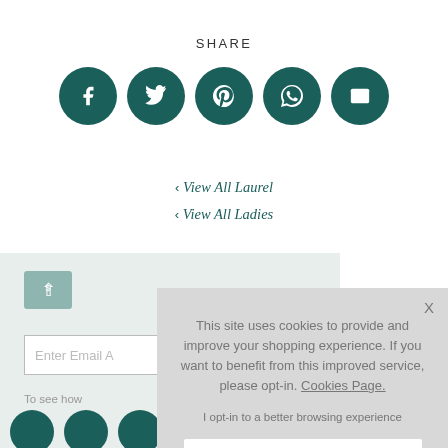SHARE
[Figure (infographic): Five dark teal circular social media share icons: Facebook, Twitter, Pinterest, WhatsApp, and Email]
‹ View All Laurel
‹ View All Ladies
[Figure (screenshot): Partially visible background content with email input field showing 'Enter Email A...' and text 'To see how']
This site uses cookies to provide and improve your shopping experience. If you want to benefit from this improved service, please opt-in. Cookies Page.
I opt-in to a better browsing experience
ACCEPT COOKIES